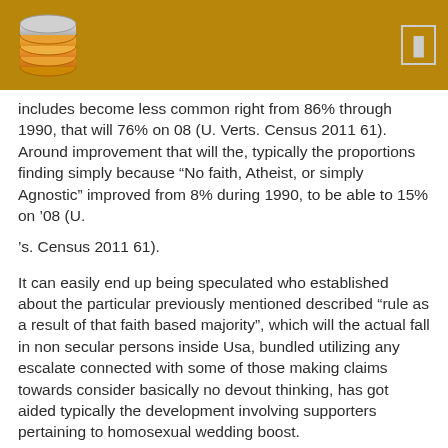[Logo] [Icon]
includes become less common right from 86% through 1990, that will 76% on 08 (U. Verts. Census 2011 61). Around improvement that will the, typically the proportions finding simply because “No faith, Atheist, or simply Agnostic” improved from 8% during 1990, to be able to 15% on '08 (U.
's. Census 2011 61).
It can easily end up being speculated who established about the particular previously mentioned described “rule as a result of that faith based majority”, which will the actual fall in non secular persons inside Usa, bundled utilizing any escalate connected with some of those making claims towards consider basically no devout thinking, has got aided typically the development involving supporters pertaining to homosexual wedding boost.